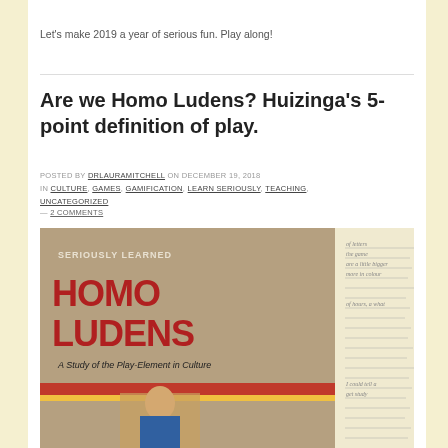Let's make 2019 a year of serious fun. Play along!
Are we Homo Ludens? Huizinga's 5-point definition of play.
POSTED BY DRLAURAMITCHELL ON DECEMBER 19, 2018 IN CULTURE, GAMES, GAMIFICATION, LEARN SERIOUSLY, TEACHING, UNCATEGORIZED — 2 COMMENTS
[Figure (photo): Photo of the book 'Homo Ludens: A Study of the Play-Element in Culture' with handwritten notes visible beside it, labeled 'Seriously Learned' at the top.]